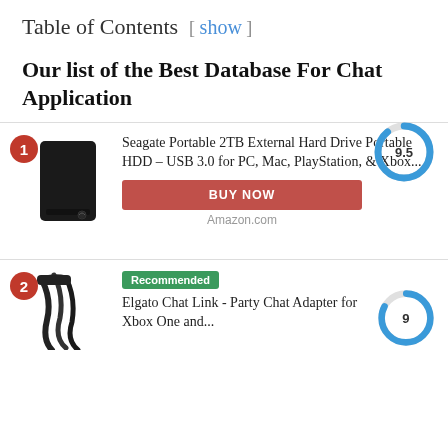Table of Contents [ show ]
Our list of the Best Database For Chat Application
1 Seagate Portable 2TB External Hard Drive Portable HDD – USB 3.0 for PC, Mac, PlayStation, & Xbox... 9.5 BUY NOW Amazon.com
2 Recommended Elgato Chat Link - Party Chat Adapter for Xbox One and... 9